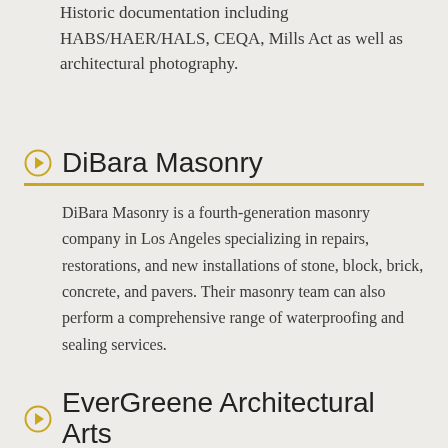Historic documentation including HABS/HAER/HALS, CEQA, Mills Act as well as architectural photography.
DiBara Masonry
DiBara Masonry is a fourth-generation masonry company in Los Angeles specializing in repairs, restorations, and new installations of stone, block, brick, concrete, and pavers. Their masonry team can also perform a comprehensive range of waterproofing and sealing services.
EverGreene Architectural Arts